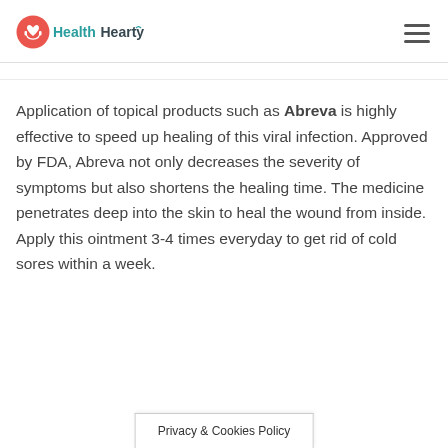HealthHearty
Application of topical products such as Abreva is highly effective to speed up healing of this viral infection. Approved by FDA, Abreva not only decreases the severity of symptoms but also shortens the healing time. The medicine penetrates deep into the skin to heal the wound from inside. Apply this ointment 3-4 times everyday to get rid of cold sores within a week.
Privacy & Cookies Policy